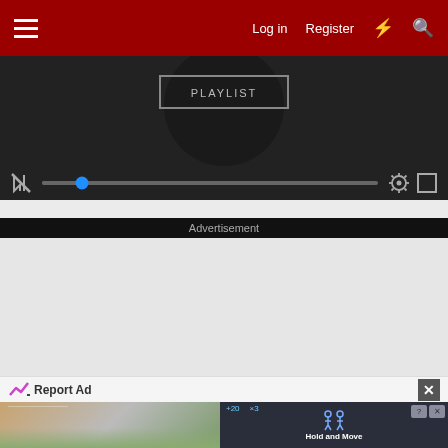Log in   Register
[Figure (screenshot): Video player showing dark video content with overlay box and media controls including mute button, progress bar with blue thumb, settings gear icon and fullscreen icon]
Advertisement
[Figure (screenshot): Advertisement placeholder - light grey empty area]
Report Ad
[Figure (screenshot): Bottom advertisement showing outdoor scene and dark gaming/app interface with Hold and Move text, help and close buttons]